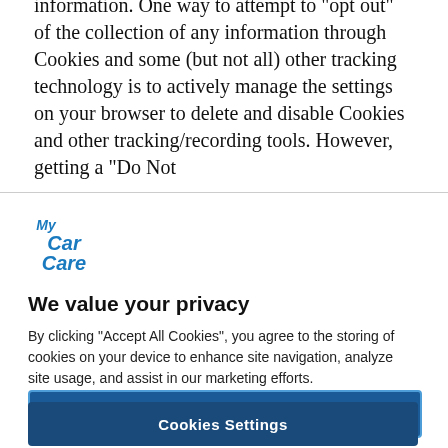information. One way to attempt to “opt out” of the collection of any information through Cookies and some (but not all) other tracking technology is to actively manage the settings on your browser to delete and disable Cookies and other tracking/recording tools. However, getting a “Do Not
[Figure (logo): My Car Care logo in blue italic bold text]
We value your privacy
By clicking “Accept All Cookies”, you agree to the storing of cookies on your device to enhance site navigation, analyze site usage, and assist in our marketing efforts.
Accept All Cookies
Cookies Settings